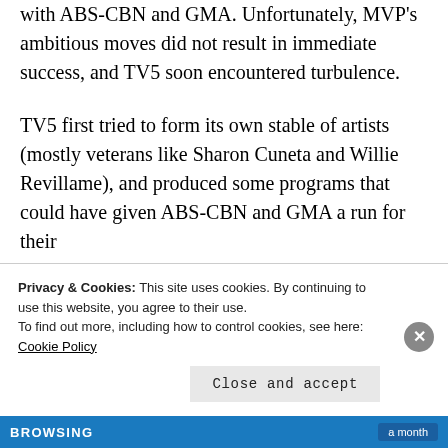with ABS-CBN and GMA. Unfortunately, MVP's ambitious moves did not result in immediate success, and TV5 soon encountered turbulence.
TV5 first tried to form its own stable of artists (mostly veterans like Sharon Cuneta and Willie Revillame), and produced some programs that could have given ABS-CBN and GMA a run for their
Privacy & Cookies: This site uses cookies. By continuing to use this website, you agree to their use.
To find out more, including how to control cookies, see here: Cookie Policy
Close and accept
BROWSING